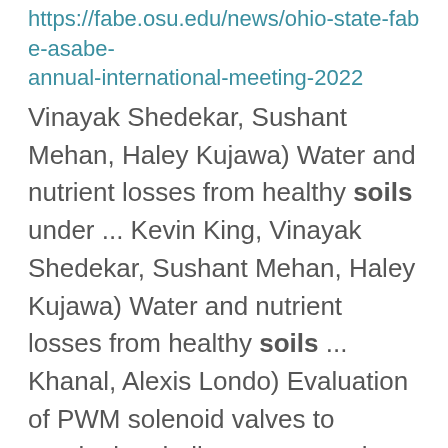https://fabe.osu.edu/news/ohio-state-fabe-asabe-annual-international-meeting-2022
Vinayak Shedekar, Sushant Mehan, Haley Kujawa) Water and nutrient losses from healthy soils under ... Kevin King, Vinayak Shedekar, Sushant Mehan, Haley Kujawa) Water and nutrient losses from healthy soils ... Khanal, Alexis Londo) Evaluation of PWM solenoid valves to manipulate hollow cone nozzles operated at high ...
4-H Projects go to Fair
https://extension.osu.edu/today/4-h-projects-go-fair
demonstration with a judge. The members who do superior work are especially